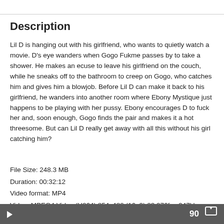Description
Lil D is hanging out with his girlfriend, who wants to quietly watch a movie. D's eye wanders when Gogo Fukme passes by to take a shower. He makes an ecuse to leave his girlfriend on the couch, while he sneaks off to the bathroom to creep on Gogo, who catches him and gives him a blowjob. Before Lil D can make it back to his girlfriend, he wanders into another room where Ebony Mystique just happens to be playing with her pussy. Ebony encourages D to fuck her and, soon enough, Gogo finds the pair and makes it a hot threesome. But can Lil D really get away with all this without his girl catching him?
File Size: 248.3 MB
Duration: 00:32:12
Video format: MP4
Video: MPEG4 Video (H264) 854x480 (16: 9) 23.976fps 947kbps
90